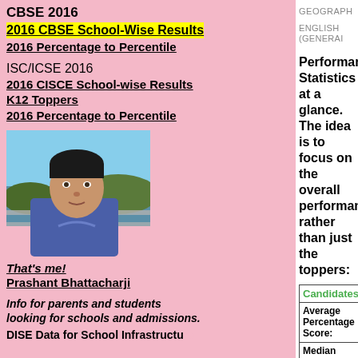CBSE 2016
2016 CBSE School-Wise Results
2016 Percentage to Percentile
ISC/ICSE 2016
2016 CISCE School-wise Results
K12 Toppers
2016 Percentage to Percentile
[Figure (photo): Photo of Prashant Bhattacharji, a man standing near a railing with sky and water in the background.]
That's me!
Prashant Bhattacharji
Info for parents and students looking for schools and admissions.
DISE Data for School Infrastructure
GEOGRAPH
ENGLISH (GENERAL
Performance Statistics at a glance. The idea is to focus on the overall performance, rather than just the toppers:
| Candidates: |
| --- |
| Average Percentage Score: |
| Median Percentage Score: |
| Percentage of Class Seniors |